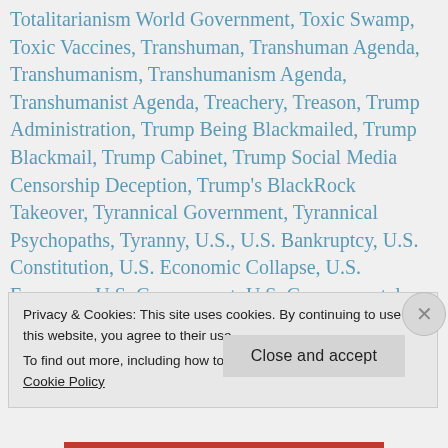United States, The United States of Israel, NWO Elite Blog, Totalitarianism World Government, Toxic Swamp, Toxic Vaccines, Transhuman, Transhuman Agenda, Transhumanism, Transhumanism Agenda, Transhumanist Agenda, Treachery, Treason, Trump Administration, Trump Being Blackmailed, Trump Blackmail, Trump Cabinet, Trump Social Media Censorship Deception, Trump's BlackRock Takeover, Tyrannical Government, Tyrannical Psychopaths, Tyranny, U.S., U.S. Bankruptcy, U.S. Constitution, U.S. Economic Collapse, U.S. Economy, U.S. Government, U.S. Governmental Agencies, Ultra-Zionist, Ultra-Zionists, United States, United States of America, US Government, US Politics,
Privacy & Cookies: This site uses cookies. By continuing to use this website, you agree to their use. To find out more, including how to control cookies, see here: Cookie Policy